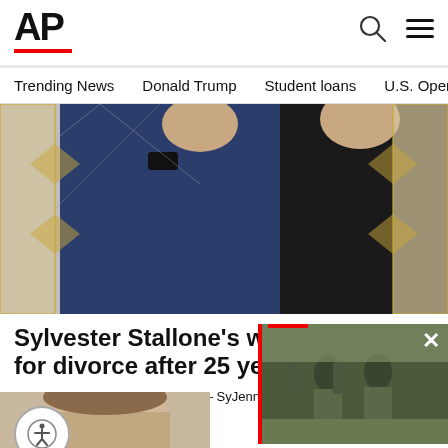AP
Trending News
Donald Trump
Student loans
U.S. Open Tenn
[Figure (photo): Sylvester Stallone and Jennifer Flavin Stallone at a formal event, man in dark suit with bow tie, woman in black dress]
Sylvester Stallone’s wife files for divorce after 25 years
WEST PALM BEACH, Fla. (AP) — Sylvester Stallone’s wife Jennifer Flavin Stallone has filed for di...
AP • 3 days ago
[Figure (photo): Soldiers in camouflage uniforms in a field — floating video overlay thumbnail]
[Figure (photo): Bottom strip partial image of a person's face]